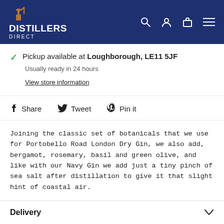DISTILLERS DIRECT
Pickup available at Loughborough, LE11 5JF
Usually ready in 24 hours
View store information
Share  Tweet  Pin it
Joining the classic set of botanicals that we use for Portobello Road London Dry Gin, we also add, bergamot, rosemary, basil and green olive, and like with our Navy Gin we add just a tiny pinch of sea salt after distillation to give it that slight hint of coastal air.
Delivery